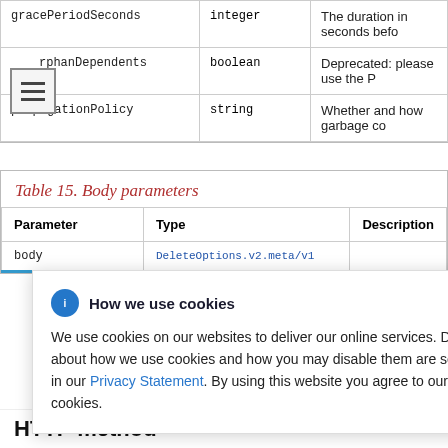| Parameter | Type | Description |
| --- | --- | --- |
| gracePeriodSeconds | integer | The duration in seconds befo... |
| rphanDependents | boolean | Deprecated: please use the Pr... |
| propagationPolicy | string | Whether and how garbage co... |
Table 15. Body parameters
| Parameter | Type | Description |
| --- | --- | --- |
| body | DeleteOptions.v2.meta/v1 |  |
[Figure (screenshot): Cookie consent popup: 'How we use cookies' with info icon and close button. Body text: 'We use cookies on our websites to deliver our online services. Details about how we use cookies and how you may disable them are set out in our Privacy Statement. By using this website you agree to our use of cookies.']
HTTP method